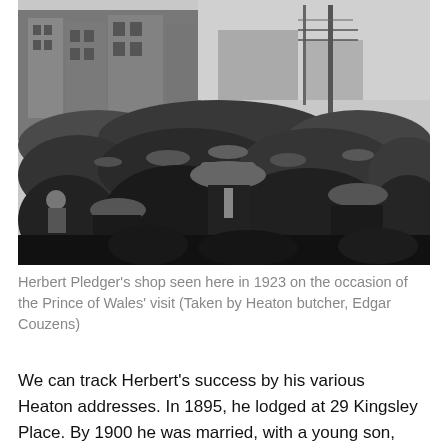[Figure (photo): Black and white historical photograph showing a large crowd of people filling a street in 1923, with buildings visible in the background. Taken on the occasion of the Prince of Wales' visit, photographed by Heaton butcher Edgar Couzens.]
Herbert Pledger's shop seen here in 1923 on the occasion of the Prince of Wales' visit (Taken by Heaton butcher, Edgar Couzens)
We can track Herbert's success by his various Heaton addresses. In 1895, he lodged at 29 Kingsley Place. By 1900 he was married, with a young son, and was.